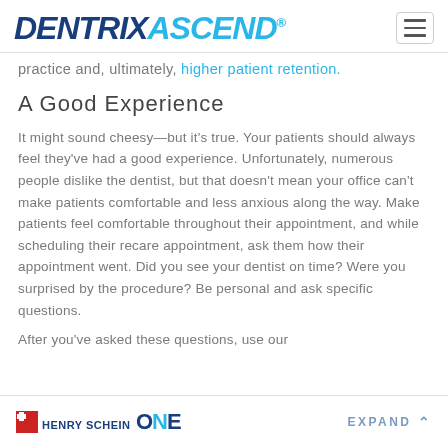DENTRIX ASCEND
practice and, ultimately, higher patient retention.
A Good Experience
It might sound cheesy—but it's true. Your patients should always feel they've had a good experience. Unfortunately, numerous people dislike the dentist, but that doesn't mean your office can't make patients comfortable and less anxious along the way. Make patients feel comfortable throughout their appointment, and while scheduling their recare appointment, ask them how their appointment went. Did you see your dentist on time? Were you surprised by the procedure? Be personal and ask specific questions.
After you've asked these questions, use our
Henry Schein ONE  EXPAND